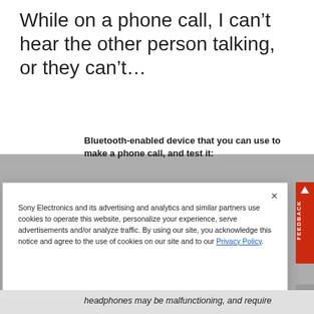While on a phone call, I can’t hear the other person talking, or they can’t…
Bluetooth-enabled device that you can use to make a phone call, and test it:
[Figure (screenshot): Cookie consent modal dialog overlay on Sony Electronics website. Modal contains text about cookies and a Manage Cookies link. A red FEEDBACK tab appears on the right edge. A close (x) button is in the top right of the modal.]
headphones may be malfunctioning, and require